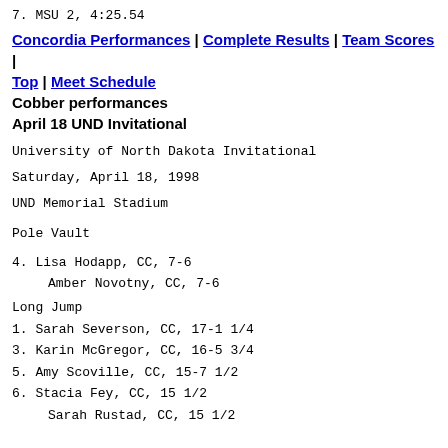7. MSU 2, 4:25.54
Concordia Performances | Complete Results | Team Scores | Top | Meet Schedule
Cobber performances
April 18 UND Invitational
University of North Dakota Invitational
Saturday, April 18, 1998
UND Memorial Stadium
Pole Vault
4. Lisa Hodapp, CC, 7-6
Amber Novotny, CC, 7-6
Long Jump
1. Sarah Severson, CC, 17-1 1/4
3. Karin McGregor, CC, 16-5 3/4
5. Amy Scoville, CC, 15-7 1/2
6. Stacia Fey, CC, 15 1/2
Sarah Rustad, CC, 15 1/2